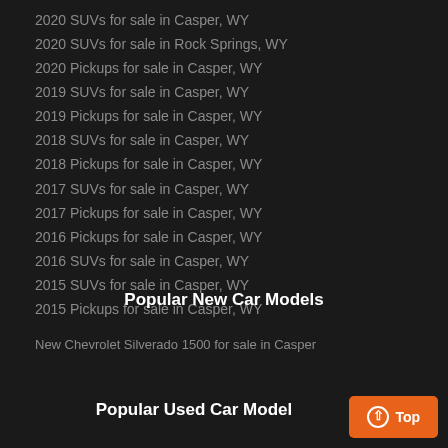2020 SUVs for sale in Casper, WY
2020 SUVs for sale in Rock Springs, WY
2020 Pickups for sale in Casper, WY
2019 SUVs for sale in Casper, WY
2019 Pickups for sale in Casper, WY
2018 SUVs for sale in Casper, WY
2018 Pickups for sale in Casper, WY
2017 SUVs for sale in Casper, WY
2017 Pickups for sale in Casper, WY
2016 Pickups for sale in Casper, WY
2016 SUVs for sale in Casper, WY
2015 SUVs for sale in Casper, WY
2015 Pickups for sale in Casper, WY
Popular New Car Models
New Chevrolet Silverado 1500 for sale in Casper
Popular Used Car Model